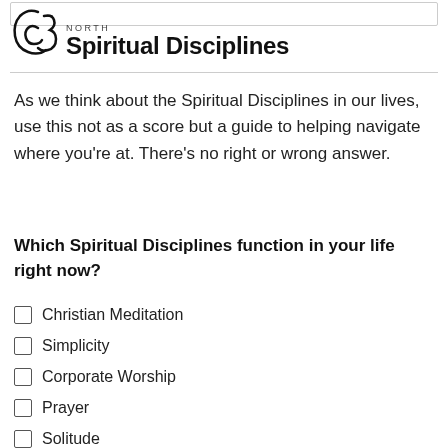C3 NORTH Spiritual Disciplines
As we think about the Spiritual Disciplines in our lives, use this not as a score but a guide to helping navigate where you're at. There's no right or wrong answer.
Which Spiritual Disciplines function in your life right now?
Christian Meditation
Simplicity
Corporate Worship
Prayer
Solitude
Guidance